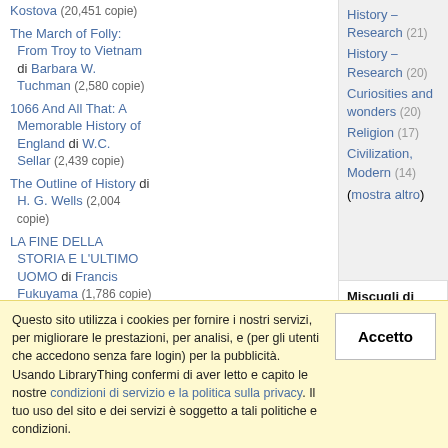Kostova (20,451 copie)
The March of Folly: From Troy to Vietnam di Barbara W. Tuchman (2,580 copie)
1066 And All That: A Memorable History of England di W.C. Sellar (2,439 copie)
The Outline of History di H. G. Wells (2,004 copie)
LA FINE DELLA STORIA E L'ULTIMO UOMO di Francis Fukuyama (1,786 copie)
History – Research (21)
History – Research (20)
Curiosities and wonders (20)
Religion (17)
Civilization, Modern (14)
(mostra altro)
Miscugli di etichette correlati
history, methodology (65)
historiography, --historical theory (44)
historical theory, non-fiction (39)
philosophy of history, political theory (27)
history, philosophy (19)
history, postmodernism (19)
history, trivia (18)
history, --US (18)
Questo sito utilizza i cookies per fornire i nostri servizi, per migliorare le prestazioni, per analisi, e (per gli utenti che accedono senza fare login) per la pubblicità. Usando LibraryThing confermi di aver letto e capito le nostre condizioni di servizio e la politica sulla privacy. Il tuo uso del sito e dei servizi è soggetto a tali politiche e condizioni.